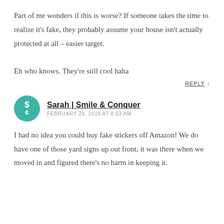Part of me wonders if this is worse? If someone takes the time to realize it's fake, they probably assume your house isn't actually protected at all – easier target.

Eh who knows. They're still cool haha
REPLY ↓
Sarah | Smile & Conquer
FEBRUARY 28, 2018 AT 8:53 AM
I had no idea you could buy fake stickers off Amazon! We do have one of those yard signs up out front, it was there when we moved in and figured there's no harm in keeping it.